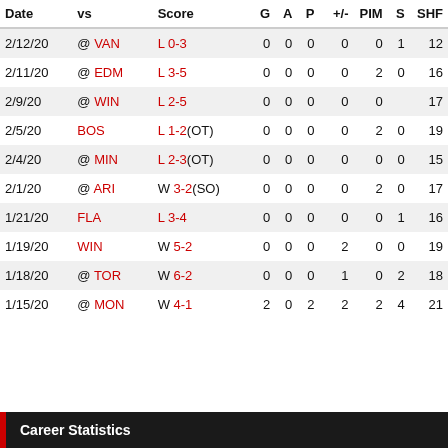| Date | vs | Score | G | A | P | +/- | PIM | S | SHF |
| --- | --- | --- | --- | --- | --- | --- | --- | --- | --- |
| 2/12/20 | @ VAN | L 0-3 | 0 | 0 | 0 | 0 | 0 | 1 | 12 |
| 2/11/20 | @ EDM | L 3-5 | 0 | 0 | 0 | 0 | 2 | 0 | 16 |
| 2/9/20 | @ WIN | L 2-5 | 0 | 0 | 0 | 0 | 0 |  | 17 |
| 2/5/20 | BOS | L 1-2 (OT) | 0 | 0 | 0 | 0 | 2 | 0 | 19 |
| 2/4/20 | @ MIN | L 2-3 (OT) | 0 | 0 | 0 | 0 | 0 | 0 | 15 |
| 2/1/20 | @ ARI | W 3-2 (SO) | 0 | 0 | 0 | 0 | 2 | 0 | 17 |
| 1/21/20 | FLA | L 3-4 | 0 | 0 | 0 | 0 | 0 | 1 | 16 |
| 1/19/20 | WIN | W 5-2 | 0 | 0 | 0 | 2 | 0 | 0 | 19 |
| 1/18/20 | @ TOR | W 6-2 | 0 | 0 | 0 | 1 | 0 | 2 | 18 |
| 1/15/20 | @ MON | W 4-1 | 2 | 0 | 2 | 2 | 2 | 4 | 21 |
Career Statistics